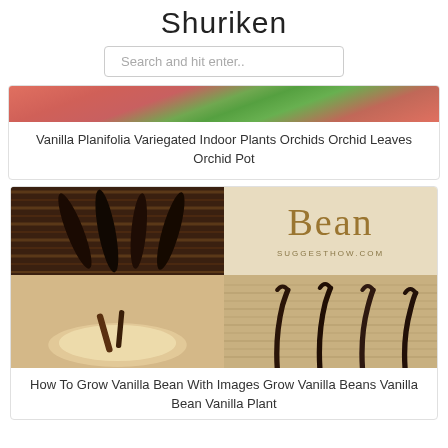Shuriken
[Figure (screenshot): Search box with placeholder text 'Search and hit enter..']
[Figure (photo): Partial image of orchid plant with red and green tones]
Vanilla Planifolia Variegated Indoor Plants Orchids Orchid Leaves Orchid Pot
[Figure (photo): Four-panel image grid: top-left shows dark vanilla bean pods on bamboo mat, top-right shows 'Bean' text with SUGGESTHOW.COM on beige background, bottom-left shows vanilla bean in bowl, bottom-right shows vanilla pods on burlap fabric]
How To Grow Vanilla Bean With Images Grow Vanilla Beans Vanilla Bean Vanilla Plant